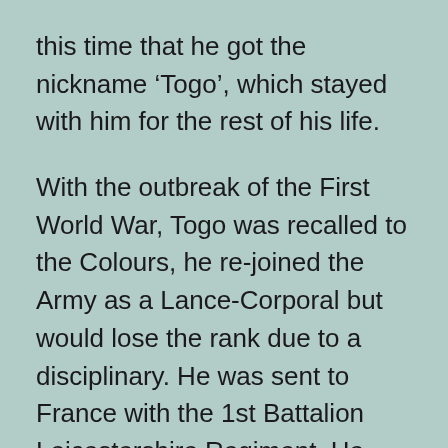this time that he got the nickname ‘Togo’, which stayed with him for the rest of his life.
With the outbreak of the First World War, Togo was recalled to the Colours, he re-joined the Army as a Lance-Corporal but would lose the rank due to a disciplinary. He was sent to France with the 1st Battalion Leicestershire Regiment. He was awarded the Distinguished Conduct Medal and Croix de Guerre for conspicuous gallantry. He was in charge of a picket, and was wounded by a shell in both legs and severely bruised by falling timber. He stuck to his post until relieved and had the